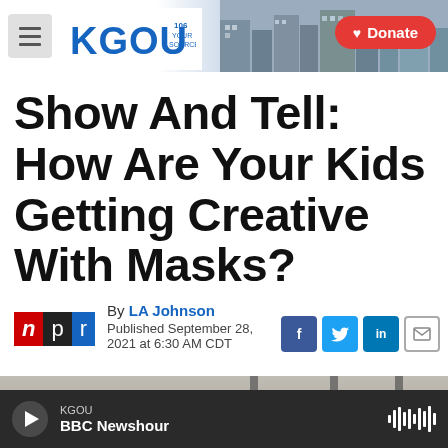KGOU | Donate
Show And Tell: How Are Your Kids Getting Creative With Masks?
By LA Johnson
Published September 28, 2021 at 6:30 AM CDT
[Figure (photo): Photo of children, partially visible, likely wearing masks]
KGOU — BBC Newshour